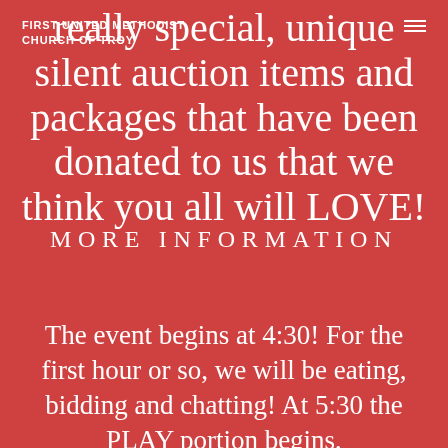FIRST UNITED METHODIST CHURCH OF TROY
really special, unique silent auction items and packages that have been donated to us that we think you all will LOVE!
MORE INFORMATION
The event begins at 4:30! For the first hour or so, we will be eating, bidding and chatting! At 5:30 the PLAY portion begins,